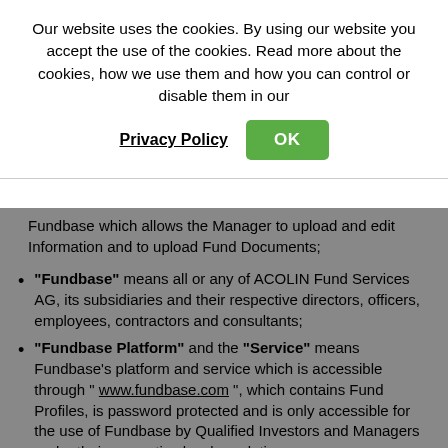Our website uses the cookies. By using our website you accept the use of the cookies. Read more about the cookies, how we use them and how you can control or disable them in our
Privacy Policy   OK
Fundbase which allows the Manager to upload and edit Information and to upload Fund Documents;
"Fundbase" means all or any of ACOLIN Fund Services AG, its subsidiaries and their respective directors, officers, employees, contractors and consultants;
"Fundbase Platform" and the "Service" means Fundbase's platform and service which is accessible through " www.fundbase.com ", which contains Fund Profiles, is password protected and is only accessible for the use of Fundbase by Qualified Investors and Managers under their respective local regulations;
"Information" means the information provided by the Manager about the Fund and the Manager